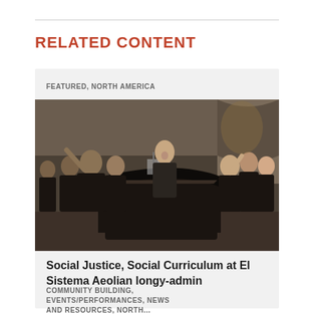RELATED CONTENT
FEATURED, NORTH AMERICA
[Figure (photo): A performer singing passionately at a grand piano in a stone-walled hall, surrounded by a group of children and young people in dark clothing, arms raised in celebration.]
Social Justice, Social Curriculum at El Sistema Aeolian longy-admin
COMMUNITY BUILDING, EVENTS/PERFORMANCES, NEWS AND RESOURCES, NORTH...